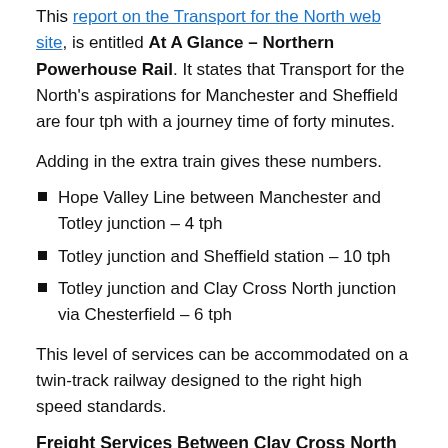This report on the Transport for the North web site, is entitled At A Glance – Northern Powerhouse Rail. It states that Transport for the North's aspirations for Manchester and Sheffield are four tph with a journey time of forty minutes.
Adding in the extra train gives these numbers.
Hope Valley Line between Manchester and Totley junction – 4 tph
Totley junction and Sheffield station – 10 tph
Totley junction and Clay Cross North junction via Chesterfield – 6 tph
This level of services can be accommodated on a twin-track railway designed to the right high speed standards.
Freight Services Between Clay Cross North Junction And Sheffield Station